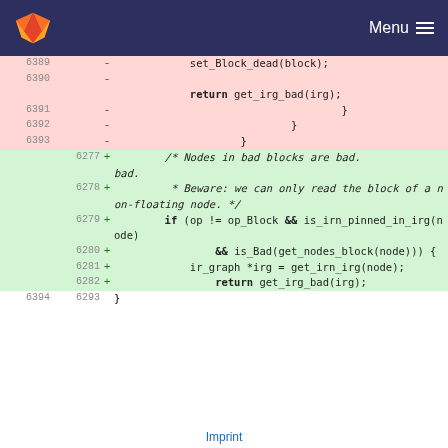GitLab — Menu
[Figure (screenshot): GitLab code diff view showing removed lines 6389-6393 (deleted code with set_Block_dead, return get_irg_bad, closing braces) and added lines 6277-6282 (new comment and if-block for checking nodes in bad blocks)]
Imprint